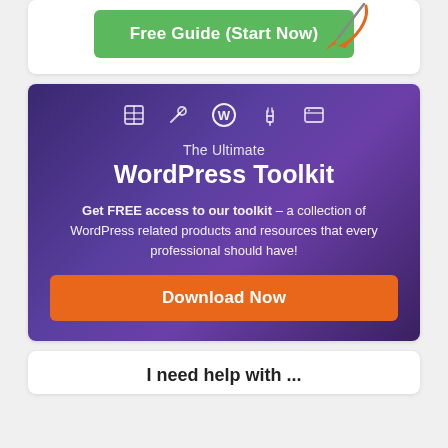[Figure (screenshot): Green button labeled 'Free Guide (Start Now)' with an orange arrow pointing to it on a white card background]
[Figure (infographic): Purple gradient banner with WordPress toolkit icons, title 'The Ultimate WordPress Toolkit', descriptive text, and an orange 'Download Now' button]
I need help with ...